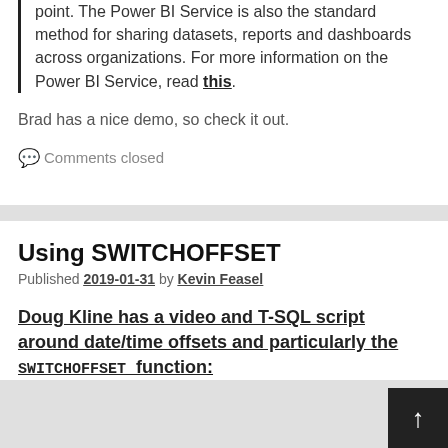point. The Power BI Service is also the standard method for sharing datasets, reports and dashboards across organizations. For more information on the Power BI Service, read this.
Brad has a nice demo, so check it out.
Comments closed
Using SWITCHOFFSET
Published 2019-01-31 by Kevin Feasel
Doug Kline has a video and T-SQL script around date/time offsets and particularly the SWITCHOFFSET function: